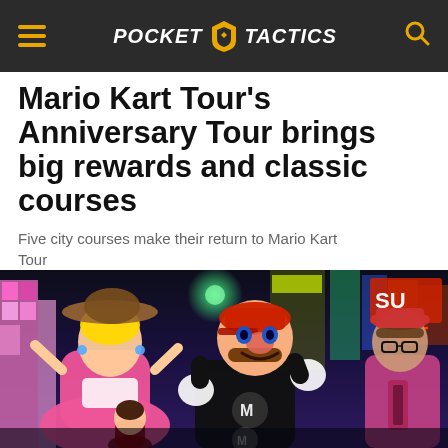POCKET TACTICS
Mario Kart Tour's Anniversary Tour brings big rewards and classic courses
Five city courses make their return to Mario Kart Tour
[Figure (photo): Screenshot from Mario Kart Tour showing characters Princess Peach (in pink dress and wide-brim hat), Mario (in dark suit with M emblem), and another character on the right, set against a colorful city background at night with neon signs including a partial 'SUN' sign.]